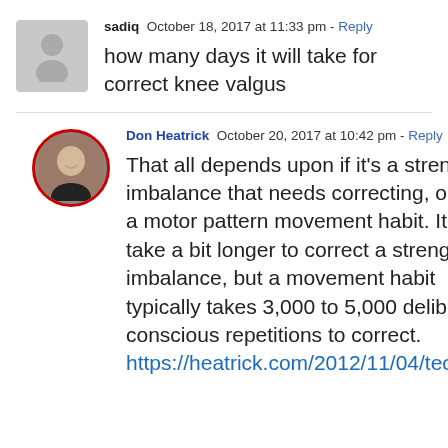sadiq  October 18, 2017 at 11:33 pm - Reply
how many days it will take for correct knee valgus
Don Heatrick  October 20, 2017 at 10:42 pm - Reply
That all depends upon if it’s a strength imbalance that needs correcting, or just a motor pattern movement habit. It’ll take a bit longer to correct a strength imbalance, but a movement habit typically takes 3,000 to 5,000 deliberate, conscious repetitions to correct. https://heatrick.com/2012/11/04/techniqu